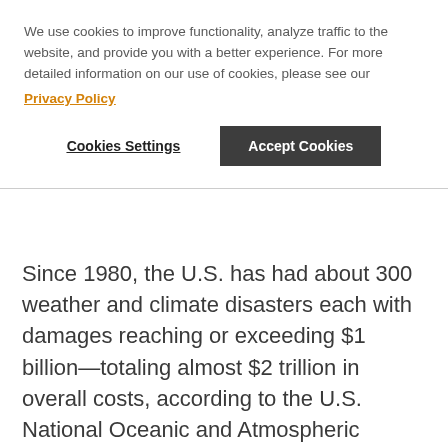We use cookies to improve functionality, analyze traffic to the website, and provide you with a better experience. For more detailed information on our use of cookies, please see our Privacy Policy
Cookies Settings
Accept Cookies
Since 1980, the U.S. has had about 300 weather and climate disasters each with damages reaching or exceeding $1 billion—totaling almost $2 trillion in overall costs, according to the U.S. National Oceanic and Atmospheric Administration (NOAA). The agency's data as of